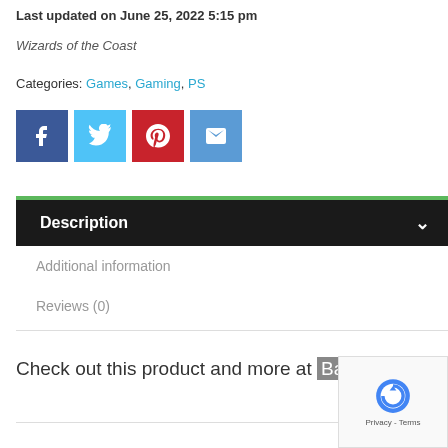Last updated on June 25, 2022 5:15 pm
Wizards of the Coast
Categories: Games, Gaming, PS
[Figure (other): Social share buttons: Facebook, Twitter, Pinterest, Email]
Description
Additional information
Reviews (0)
Check out this product and more at Base.com
[Figure (other): reCAPTCHA badge with Privacy - Terms text]